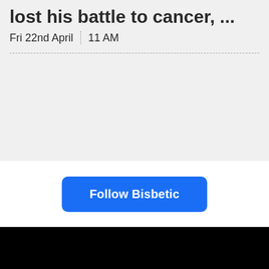lost his battle to cancer, ...
Fri 22nd April  |  11 AM
Follow Bisbetic